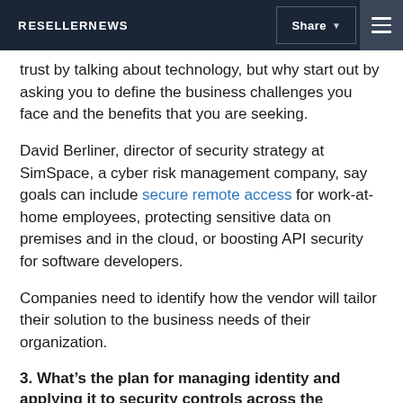RESELLERNEWS | Share | Menu
trust by talking about technology, but why start out by asking you to define the business challenges you face and the benefits that you are seeking.
David Berliner, director of security strategy at SimSpace, a cyber risk management company, say goals can include secure remote access for work-at-home employees, protecting sensitive data on premises and in the cloud, or boosting API security for software developers.
Companies need to identify how the vendor will tailor their solution to the business needs of their organization.
3. What’s the plan for managing identity and applying it to security controls across the enterprise network?
ZTNA vendors and partners should level with customers and